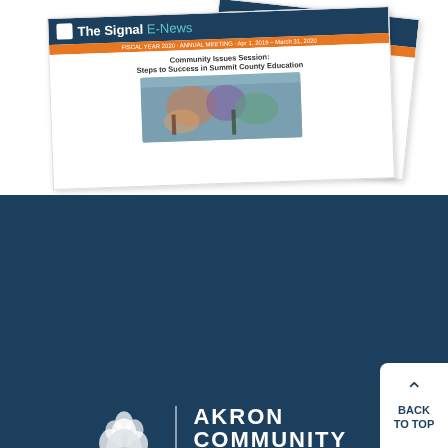[Figure (illustration): Two newsletter/e-news publication mockups for 'The Signal E-News' with teal and orange headers, showing a community issues session article about Summit County Education]
[Figure (logo): Akron Community Foundation logo: white tree illustration beside text reading AKRON COMMUNITY FOUNDATION, Enriching Lives Since 1955]
Contact Us
Akron Community Foundation
345 West Cedar Street
Akron,  OH 44307
Phone:  330-376-8522